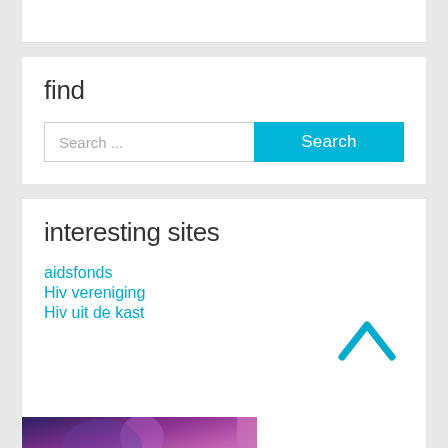find
Search ...
Search
interesting sites
aidsfonds
Hiv vereniging
Hiv uit de kast
[Figure (illustration): Image strip showing a person with purple/blue hair, with text ELIANE overlaid at the bottom]
[Figure (illustration): Cyan up-arrow chevron icon for back to top navigation]